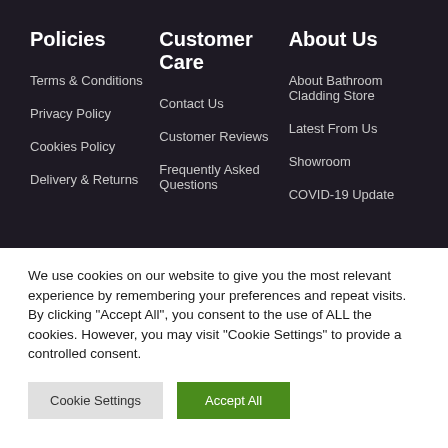Policies
Customer Care
About Us
Terms & Conditions
Privacy Policy
Cookies Policy
Delivery & Returns
Contact Us
Customer Reviews
Frequently Asked Questions
About Bathroom Cladding Store
Latest From Us
Showroom
COVID-19 Update
We use cookies on our website to give you the most relevant experience by remembering your preferences and repeat visits. By clicking "Accept All", you consent to the use of ALL the cookies. However, you may visit "Cookie Settings" to provide a controlled consent.
Cookie Settings
Accept All